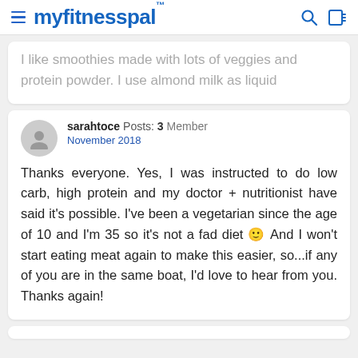myfitnesspal
I like smoothies made with lots of veggies and protein powder. I use almond milk as liquid
sarahtoce  Posts: 3  Member
November 2018

Thanks everyone. Yes, I was instructed to do low carb, high protein and my doctor + nutritionist have said it's possible. I've been a vegetarian since the age of 10 and I'm 35 so it's not a fad diet 🙂 And I won't start eating meat again to make this easier, so...if any of you are in the same boat, I'd love to hear from you. Thanks again!